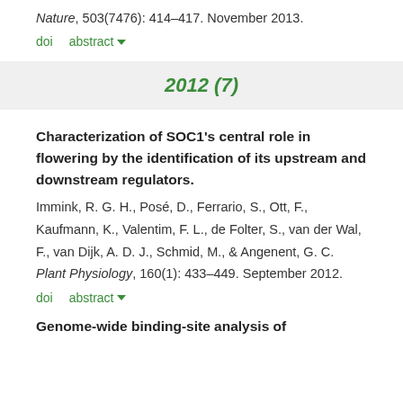Nature, 503(7476): 414–417. November 2013.
doi    abstract ▾
2012 (7)
Characterization of SOC1's central role in flowering by the identification of its upstream and downstream regulators. Immink, R. G. H., Posé, D., Ferrario, S., Ott, F., Kaufmann, K., Valentim, F. L., de Folter, S., van der Wal, F., van Dijk, A. D. J., Schmid, M., & Angenent, G. C. Plant Physiology, 160(1): 433–449. September 2012.
doi    abstract ▾
Genome-wide binding-site analysis of